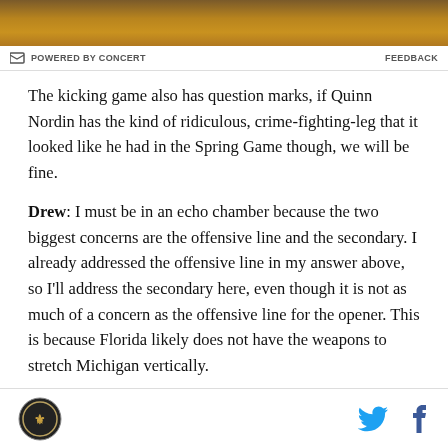[Figure (photo): Top portion of a photo, mostly dark orange/brown tones, cropped]
POWERED BY CONCERT   FEEDBACK
The kicking game also has question marks, if Quinn Nordin has the kind of ridiculous, crime-fighting-leg that it looked like he had in the Spring Game though, we will be fine.
Drew: I must be in an echo chamber because the two biggest concerns are the offensive line and the secondary. I already addressed the offensive line in my answer above, so I'll address the secondary here, even though it is not as much of a concern as the offensive line for the opener. This is because Florida likely does not have the weapons to stretch Michigan vertically.